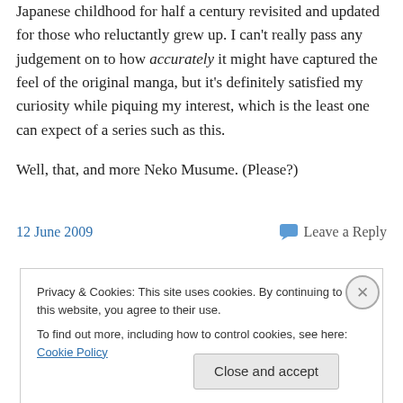Japanese childhood for half a century revisited and updated for those who reluctantly grew up. I can't really pass any judgement on to how accurately it might have captured the feel of the original manga, but it's definitely satisfied my curiosity while piquing my interest, which is the least one can expect of a series such as this.
Well, that, and more Neko Musume. (Please?)
12 June 2009   Leave a Reply
Privacy & Cookies: This site uses cookies. By continuing to use this website, you agree to their use.
To find out more, including how to control cookies, see here: Cookie Policy
Close and accept